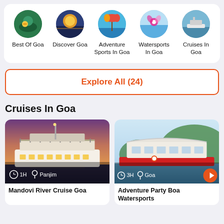[Figure (screenshot): Category navigation row with circular icons: Best Of Goa, Discover Goa, Adventure Sports In Goa, Watersports In Goa, Cruises In Goa]
Explore All (24)
Cruises In Goa
[Figure (photo): Photo of a large illuminated cruise ship at sunset/dusk on a river, with passengers on deck. Duration: 1H, Location: Panjim]
[Figure (photo): Photo of a red and white party boat on water with green hills behind. Duration: 3H, Location: Goa]
Mandovi River Cruise Goa
Adventure Party Boa Watersports